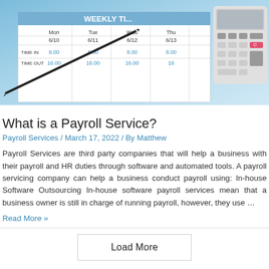[Figure (photo): Photo of a weekly timesheet with columns for Mon 6/10, Tue 6/11, Wed 6/12, Thu 6/13 showing time-in and time-out rows with blue numbers (8.00, 16.00, etc.), a black pen resting on the sheet, and a calculator in the upper right corner.]
What is a Payroll Service?
Payroll Services / March 17, 2022 / By Matthew
Payroll Services are third party companies that will help a business with their payroll and HR duties through software and automated tools. A payroll servicing company can help a business conduct payroll using: In-house Software Outsourcing In-house software payroll services mean that a business owner is still in charge of running payroll, however, they use …
Read More »